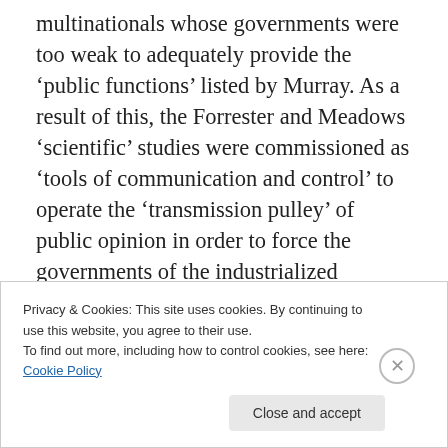multinationals whose governments were too weak to adequately provide the ‘public functions’ listed by Murray. As a result of this, the Forrester and Meadows ‘scientific’ studies were commissioned as ‘tools of communication and control’ to operate the ‘transmission pulley’ of public opinion in order to force the governments of the industrialized societies to institute a ‘new world moderator’ (with ‘stern rules about voting’) which would have sufficient power to stabilize the international economic situation and ensure a constant supply of raw materials.” (pg. 216)
[Figure (photo): Partial image strip visible behind the cookie banner]
Privacy & Cookies: This site uses cookies. By continuing to use this website, you agree to their use.
To find out more, including how to control cookies, see here: Cookie Policy